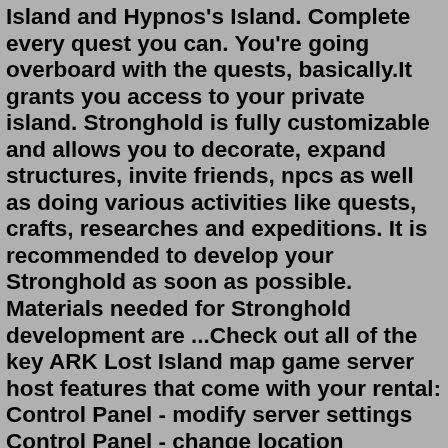Island and Hypnos's Island. Complete every quest you can. You're going overboard with the quests, basically.It grants you access to your private island. Stronghold is fully customizable and allows you to decorate, expand structures, invite friends, npcs as well as doing various activities like quests, crafts, researches and expeditions. It is recommended to develop your Stronghold as soon as possible. Materials needed for Stronghold development are ...Check out all of the key ARK Lost Island map game server host features that come with your rental: Control Panel - modify server settings Control Panel - change location instantly Highest Single Thread Benchmark Intel/AMD CPUs Ultra Fast NVMe SSD Drives 5 Days of 30 Minute Increment DB Backups Server passlocking / map changing DDoS ProtectionIsland Token Acquisition Type: RNG Kill the boss Sea God Aporas on the island to randomly obtain the Island Token . Mokoko Seeds and other locations Click me to show the island again Both Mokoko Seeds on the right are only harvestable after